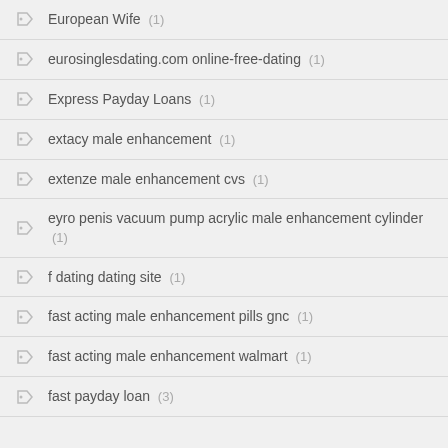European Wife (1)
eurosinglesdating.com online-free-dating (1)
Express Payday Loans (1)
extacy male enhancement (1)
extenze male enhancement cvs (1)
eyro penis vacuum pump acrylic male enhancement cylinder (1)
f dating dating site (1)
fast acting male enhancement pills gnc (1)
fast acting male enhancement walmart (1)
fast payday loan (3)